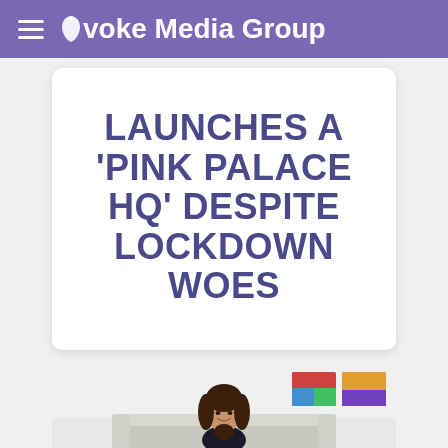Evoke Media Group
LAUNCHES A 'PINK PALACE HQ' DESPITE LOCKDOWN WOES
[Figure (photo): Woman with long brown hair smiling, sitting on a light grey sofa, with colorful abstract artwork visible on the wall behind her]